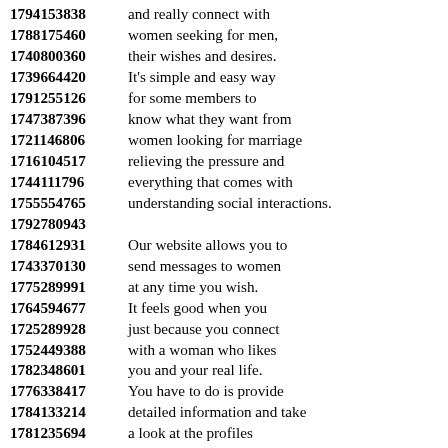1794153838 and really connect with
1788175460 women seeking for men,
1740800360 their wishes and desires.
1739664420 It's simple and easy way
1791255126 for some members to
1747387396 know what they want from
1721146806 women looking for marriage
1716104517 relieving the pressure and
1744111796 everything that comes with
1755554765 understanding social interactions.
1792780943
1784612931 Our website allows you to
1743370130 send messages to women
1775289991 at any time you wish.
1764594677 It feels good when you
1725289928 just because you connect
1752449388 with a woman who likes
1782348601 you and your real life.
1776338417 You have to do is provide
1784133214 detailed information and take
1781235694 a look at the profiles
1735938113 provided on the site for
1715354303 free and start dating right away
1712692498 with women looking for men
1723317240 who are the most handsome.